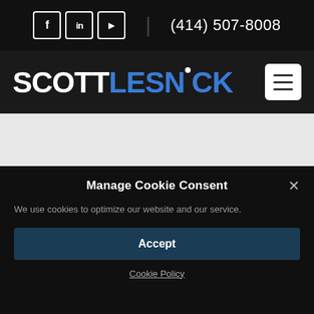Social icons: Facebook, LinkedIn, YouTube | (414) 507-8008
[Figure (logo): SCOTT LESNICK logo in white and blue text on dark background, with hamburger menu button]
We use cookies to optimize our website and our service.
Manage Cookie Consent
Accept
Cookie Policy